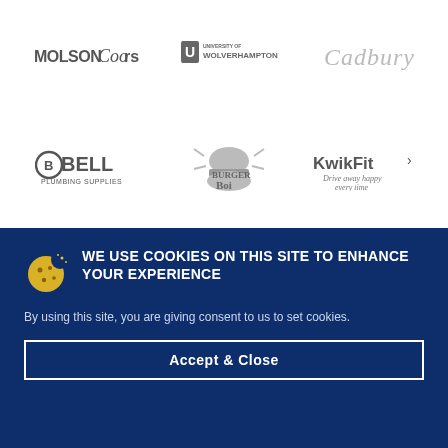[Figure (logo): Molson Coors logo in grayscale]
[Figure (logo): University of Wolverhampton logo in grayscale]
[Figure (logo): Cadbury logo in grayscale italic script]
[Figure (logo): Bell Plumbing Supplies logo in grayscale]
[Figure (logo): Burger Boi logo in grayscale]
[Figure (logo): Kwik Fit logo with tagline Drive away happy every time in grayscale]
WE USE COOKIES ON THIS SITE TO ENHANCE YOUR EXPERIENCE
By using this site, you are giving consent to us to set cookies.
Accept & Close